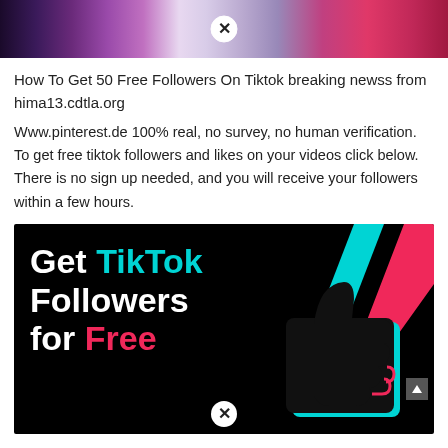[Figure (photo): Top banner image with purple/pink tones, partially visible, with a close/dismiss button (circled X) in the center]
How To Get 50 Free Followers On Tiktok breaking newss from hima13.cdtla.org
Www.pinterest.de 100% real, no survey, no human verification. To get free tiktok followers and likes on your videos click below. There is no sign up needed, and you will receive your followers within a few hours.
[Figure (infographic): TikTok promotional advertisement banner on black background. Text reads 'Get TikTok Followers for Free' with TikTok in cyan color and Free in pink/magenta color. Decorative cyan and pink diagonal stripes on right side with a large black thumbs-up icon. Close button at bottom center.]